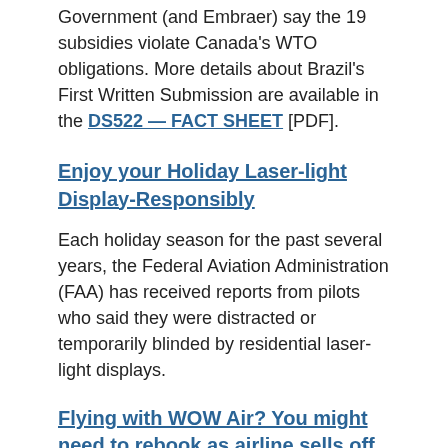Government (and Embraer) say the 19 subsidies violate Canada's WTO obligations. More details about Brazil's First Written Submission are available in the DS522 — FACT SHEET [PDF].
Enjoy your Holiday Laser-light Display-Responsibly
Each holiday season for the past several years, the Federal Aviation Administration (FAA) has received reports from pilots who said they were distracted or temporarily blinded by residential laser-light displays.
Flying with WOW Air? You might need to rebook as airline sells off planes, lays off employees
Budget carrier WOW Air is taking measures to keep the company in business. They announced a cut back in the